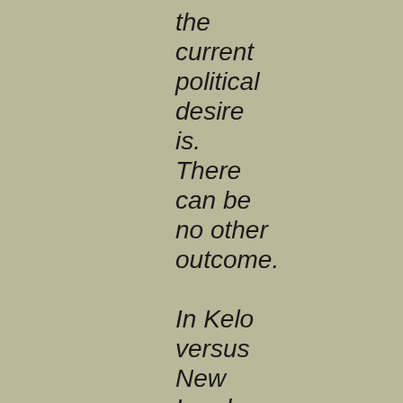the current political desire is. There can be no other outcome. In Kelo versus New London the protections of the V Amendment were shattered.